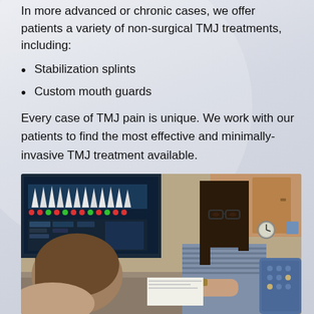In more advanced or chronic cases, we offer patients a variety of non-surgical TMJ treatments, including:
Stabilization splints
Custom mouth guards
Every case of TMJ pain is unique. We work with our patients to find the most effective and minimally-invasive TMJ treatment available.
[Figure (photo): A dental professional with glasses and long dark hair consults with a patient at a desk, with a dental X-ray or imaging software displayed on a computer monitor in the background. Office setting with wooden cabinetry visible.]